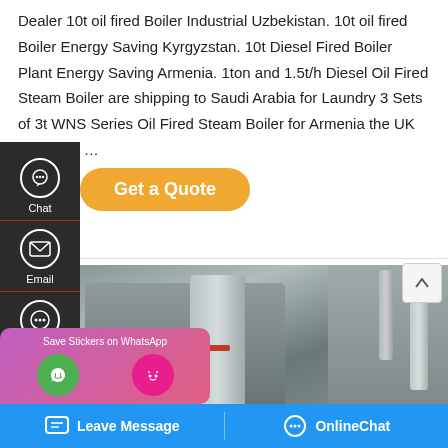Dealer 10t oil fired Boiler Industrial Uzbekistan. 10t oil fired Boiler Energy Saving Kyrgyzstan. 10t Diesel Fired Boiler Plant Energy Saving Armenia. 1ton and 1.5t/h Diesel Oil Fired Steam Boiler are shipping to Saudi Arabia for Laundry 3 Sets of 3t WNS Series Oil Fired Steam Boiler for Armenia the UK customer …
[Figure (screenshot): Left sidebar with Chat, Email, and Contact icons on dark background; Get a Quote yellow button; industrial boiler photo; WhatsApp sticker popup; bottom blue bar with Leave Message and OnlineChat buttons]